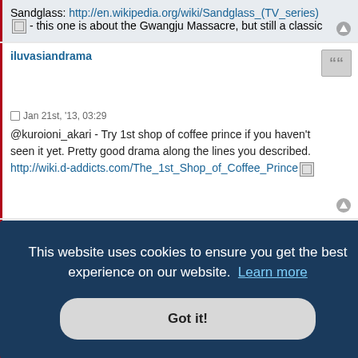Sandglass: http://en.wikipedia.org/wiki/Sandglass_(TV_series) - this one is about the Gwangju Massacre, but still a classic
iluvasiandrama
Jan 21st, '13, 03:29
@kuroioni_akari - Try 1st shop of coffee prince if you haven't seen it yet. Pretty good drama along the lines you described. http://wiki.d-addicts.com/The_1st_Shop_of_Coffee_Prince
Just.Me
This website uses cookies to ensure you get the best experience on our website. Learn more
Got it!
Gentleman Dignity